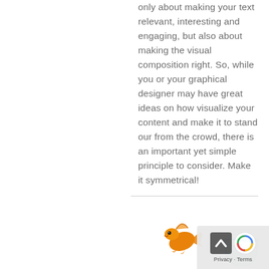only about making your text relevant, interesting and engaging, but also about making the visual composition right. So, while you or your graphical designer may have great ideas on how visualize your content and make it to stand our from the crowd, there is an important yet simple principle to consider. Make it symmetrical!
[Figure (illustration): A goldfish jumping out of water, with a small fish bowl containing water visible to the right. A reCAPTCHA/privacy badge overlay is in the bottom-right corner.]